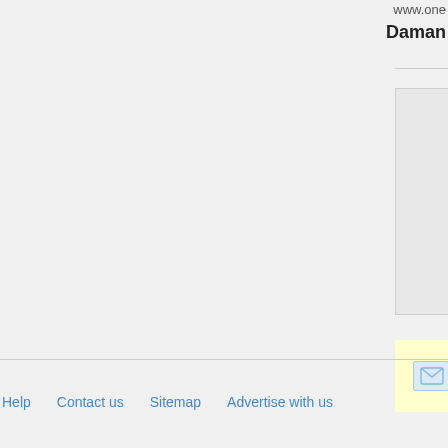www.one...
Daman
[Figure (photo): Photo placeholder with camera icon on grey background]
I want to receive e-mails a...
◄ Prev
Help   Contact us   Sitemap   Advertise with us